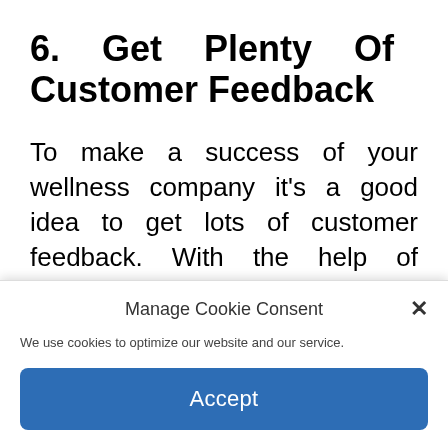6. Get Plenty Of Customer Feedback
To make a success of your wellness company it's a good idea to get lots of customer feedback. With the help of customer insights, you can focus on enhancing your products and services. There are plenty of ways that you can
Manage Cookie Consent
×
We use cookies to optimize our website and our service.
Accept